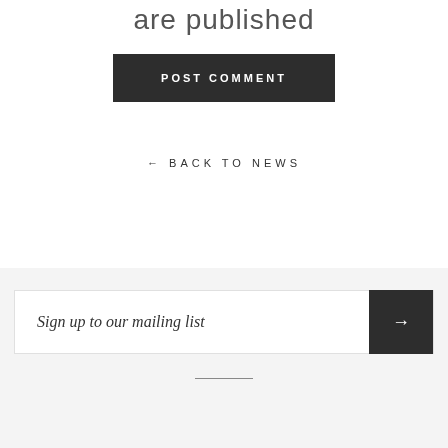are published
POST COMMENT
← BACK TO NEWS
Sign up to our mailing list
→